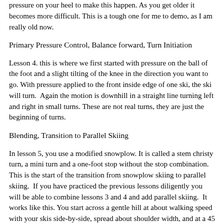pressure on your heel to make this happen. As you get older it becomes more difficult. This is a tough one for me to demo, as I am really old now.
Primary Pressure Control, Balance forward, Turn Initiation
Lesson 4. this is where we first started with pressure on the ball of the foot and a slight tilting of the knee in the direction you want to go. With pressure applied to the front inside edge of one ski, the ski will turn.  Again the motion is downhill in a straight line turning left and right in small turns. These are not real turns, they are just the beginning of turns.
Blending, Transition to Parallel Skiing
In lesson 5, you use a modified snowplow. It is called a stem christy turn, a mini turn and a one-foot stop without the stop combination. This is the start of the transition from snowplow skiing to parallel skiing.  If you have practiced the previous lessons diligently you will be able to combine lessons 3 and 4 and add parallel skiing.  It works like this. You start across a gentle hill at about walking speed with your skis side-by-side, spread about shoulder width, and at a 45 degree angle